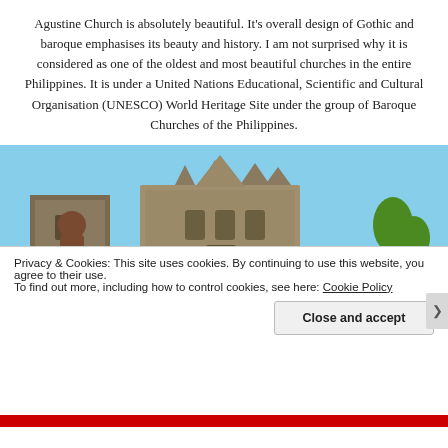Agustine Church is absolutely beautiful. It's overall design of Gothic and baroque emphasises its beauty and history. I am not surprised why it is considered as one of the oldest and most beautiful churches in the entire Philippines. It is under a United Nations Educational, Scientific and Cultural Organisation (UNESCO) World Heritage Site under the group of Baroque Churches of the Philippines.
[Figure (photo): Photo of an old stone church with baroque architectural details against a blue sky, with a statue/figure visible on the left side and palm trees on the right.]
Privacy & Cookies: This site uses cookies. By continuing to use this website, you agree to their use.
To find out more, including how to control cookies, see here: Cookie Policy